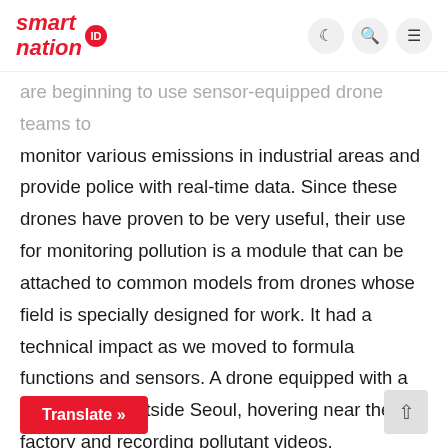smart nation ID
are beginning to use sensor-equipped drone teams to monitor various emissions in industrial areas and provide police with real-time data. Since these drones have proven to be very useful, their use for monitoring pollution is a module that can be attached to common models from drones whose field is specially designed for work. It had a technical impact as we moved to formula functions and sensors. A drone equipped with a camera flies outside Seoul, hovering near the factory and recording pollutant videos. Downstairs, on a crowded, garbage-filled street, residents wear black and white masks that wrap their ears and cover their noses and mouths. Gray haze is hanging in the sky, and p…g one after another in high-rise